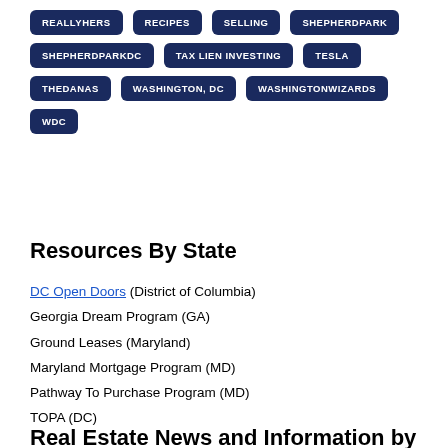REALLYHERS
RECIPES
SELLING
SHEPHERDPARK
SHEPHERDPARKDC
TAX LIEN INVESTING
TESLA
THEDANAS
WASHINGTON, DC
WASHINGTONWIZARDS
WDC
Resources By State
DC Open Doors (District of Columbia)
Georgia Dream Program (GA)
Ground Leases (Maryland)
Maryland Mortgage Program (MD)
Pathway To Purchase Program (MD)
TOPA (DC)
Real Estate News and Information by town and...